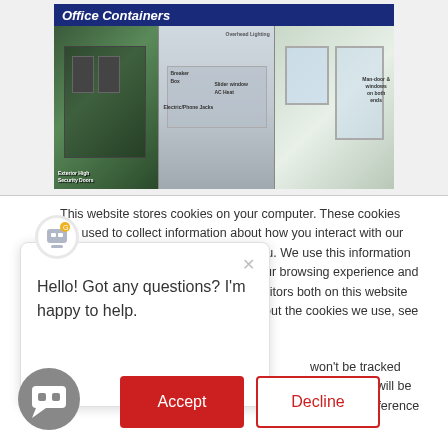[Figure (photo): Office Containers promotional banner showing three views of shipping container office units with labels: Exterior High Security Doors, Overhead Lighting, Breaker Box, Electric/Phone Jacks, Slider Window, AC Heat, Mansion windows on both ends]
This website stores cookies on your computer. These cookies are used to collect information about how you interact with our website and allow us to remember you. We use this information in order to improve and customize your browsing experience and for analytics and metrics about our visitors both on this website and other media. To find out more about the cookies we use, see our Privacy Policy
Hello! Got any questions? I'm happy to help.
won't be tracked ngle cookie will be ber your preference
Accept
Decline